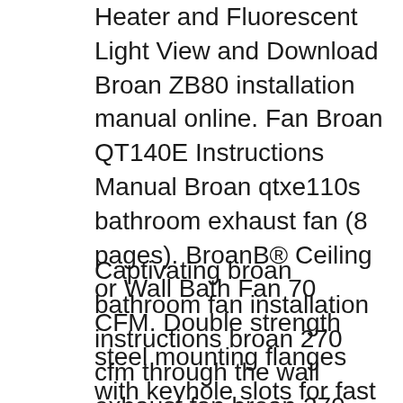Heater and Fluorescent Light View and Download Broan ZB80 installation manual online. Fan Broan QT140E Instructions Manual Broan qtxe110s bathroom exhaust fan (8 pages). BroanB® Ceiling or Wall Bath Fan 70 CFM. Double strength steel mounting flanges with keyhole slots for fast installation, Snap in/out motor assembly for easy. 'The new Broan Sensonic ventilation fan with
Captivating broan bathroom fan installation instructions broan 270 cfm through the wall exhaust fan broan 270 cfm through the wall exhaust fan captivating broan bathroomвЂ¦ Energy Star Rated Fans Looking for a quiet and